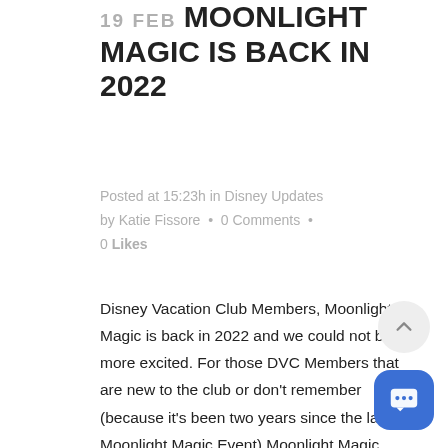19 FEB MOONLIGHT MAGIC IS BACK IN 2022
Posted at 15:23h in Disney Updates by Katie Fissore • 0 Comments • 0 Likes
Disney Vacation Club Members, Moonlight Magic is back in 2022 and we could not be more excited. For those DVC Members that are new to the club or don't remember (because it's been two years since the last Moonlight Magic Event) Moonlight Magic Events are...